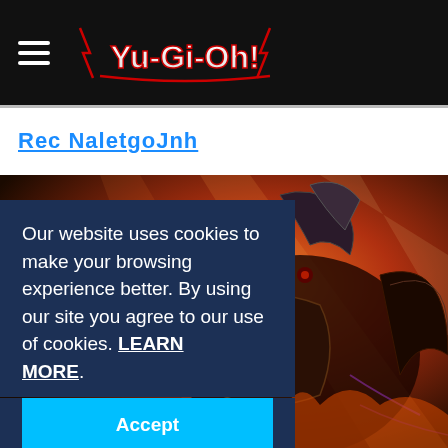Yu-Gi-Oh! website header with hamburger menu and logo
Rec NaletgoJnh
[Figure (illustration): Anime-style dragon warrior illustration with red and black colors, flames and wings in the background]
Our website uses cookies to make your browsing experience better. By using our site you agree to our use of cookies. LEARN MORE.
Accept